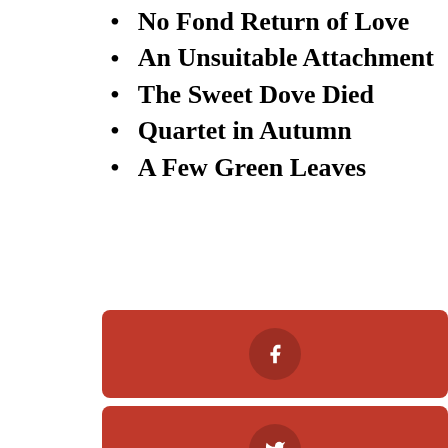No Fond Return of Love
An Unsuitable Attachment
The Sweet Dove Died
Quartet in Autumn
A Few Green Leaves
[Figure (infographic): Three red rectangular social share buttons with circular icons: Facebook (f), Twitter (bird), Pinterest (p), and a partial fourth button at the bottom edge.]